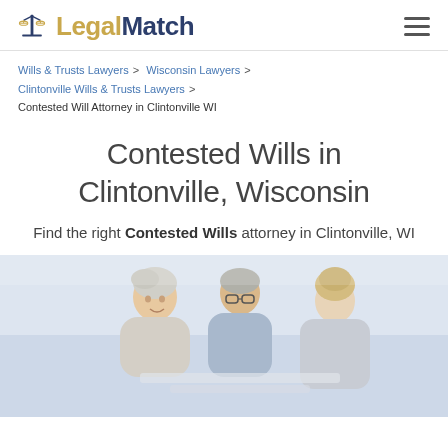LegalMatch
Wills & Trusts Lawyers > Wisconsin Lawyers > Clintonville Wills & Trusts Lawyers > Contested Will Attorney in Clintonville WI
Contested Wills in Clintonville, Wisconsin
Find the right Contested Wills attorney in Clintonville, WI
[Figure (photo): Elderly couple consulting with a younger female attorney or advisor, seated together, in a light clinical setting]